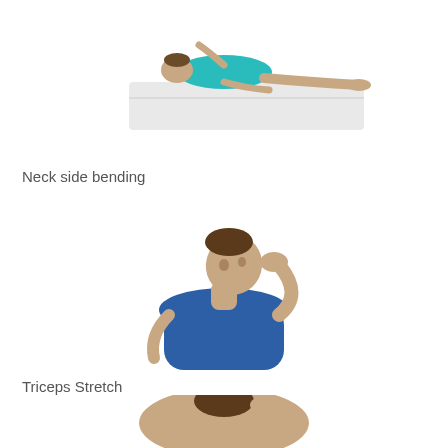[Figure (illustration): Person lying flat on their back on the floor, wearing a teal/cyan top, performing a supine stretch exercise]
Neck side bending
[Figure (illustration): Man in a blue t-shirt performing neck side bending stretch, hand placed on top of head tilting it to the side]
Triceps Stretch
[Figure (illustration): Man performing a triceps stretch, arms raised behind head with hands clasped, upper body visible from below]